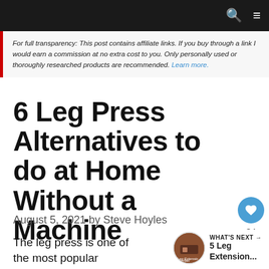Navigation bar with search and menu icons
For full transparency: This post contains affiliate links. If you buy through a link I would earn a commission at no extra cost to you. Only personally used or thoroughly researched products are recommended. Learn more.
6 Leg Press Alternatives to do at Home Without a Machine
August 5, 2021 by Steve Hoyles
The leg press is one of the most popular